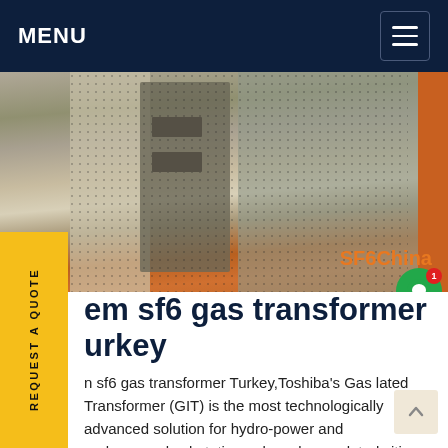MENU
[Figure (photo): Industrial SF6 gas transformer equipment — large orange-framed metal cabinet with perforated panels, photographed in an industrial setting. Watermark text 'SF6China' in orange in bottom-right corner.]
em sf6 gas transformer urkey
n sf6 gas transformer Turkey,Toshiba's Gas lated Transformer (GIT) is the most technologically advanced solution for hydro-power and underground substations, densely populated cities, mission critical substations, and offshore substations. Toshiba GITs are insulated with SF 6 gas